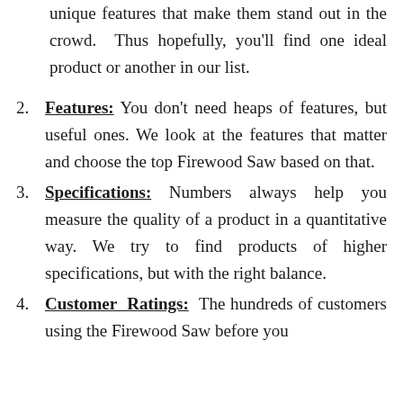unique features that make them stand out in the crowd. Thus hopefully, you'll find one ideal product or another in our list.
2. Features: You don't need heaps of features, but useful ones. We look at the features that matter and choose the top Firewood Saw based on that.
3. Specifications: Numbers always help you measure the quality of a product in a quantitative way. We try to find products of higher specifications, but with the right balance.
4. Customer Ratings: The hundreds of customers using the Firewood Saw before you